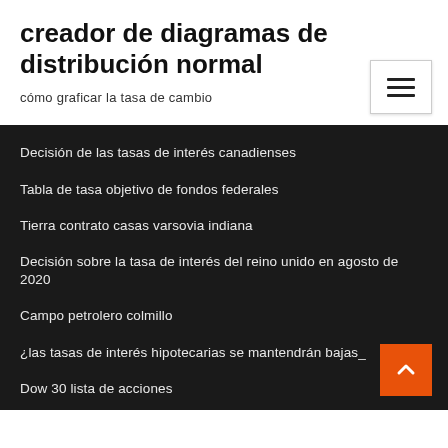creador de diagramas de distribución normal
cómo graficar la tasa de cambio
Decisión de las tasas de interés canadienses
Tabla de tasa objetivo de fondos federales
Tierra contrato casas varsovia indiana
Decisión sobre la tasa de interés del reino unido en agosto de 2020
Campo petrolero colmillo
¿las tasas de interés hipotecarias se mantendrán bajas_
Dow 30 lista de acciones